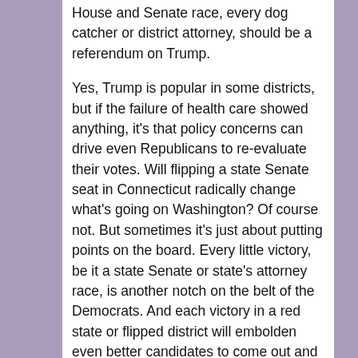House and Senate race, every dog catcher or district attorney, should be a referendum on Trump.
Yes, Trump is popular in some districts, but if the failure of health care showed anything, it’s that policy concerns can drive even Republicans to re-evaluate their votes. Will flipping a state Senate seat in Connecticut radically change what’s going on Washington? Of course not. But sometimes it’s just about putting points on the board. Every little victory, be it a state Senate or state’s attorney race, is another notch on the belt of the Democrats. And each victory in a red state or flipped district will embolden even better candidates to come out and run.
Democrats need to get serious about winning, not parsing which Democratic seats are worth fighting for